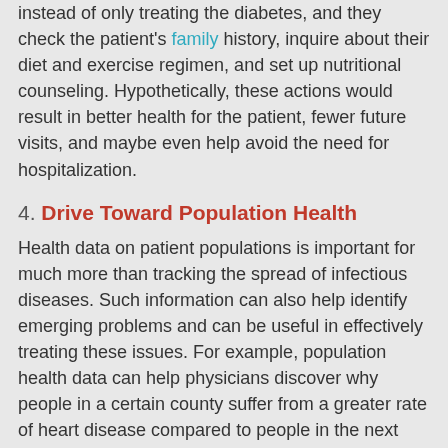instead of only treating the diabetes, and they check the patient's family history, inquire about their diet and exercise regimen, and set up nutritional counseling. Hypothetically, these actions would result in better health for the patient, fewer future visits, and maybe even help avoid the need for hospitalization.
4. Drive Toward Population Health
Health data on patient populations is important for much more than tracking the spread of infectious diseases. Such information can also help identify emerging problems and can be useful in effectively treating these issues. For example, population health data can help physicians discover why people in a certain county suffer from a greater rate of heart disease compared to people in the next county over. If risk factors from lifestyle choices or the environment can be removed, the need for ER visits and doctor's